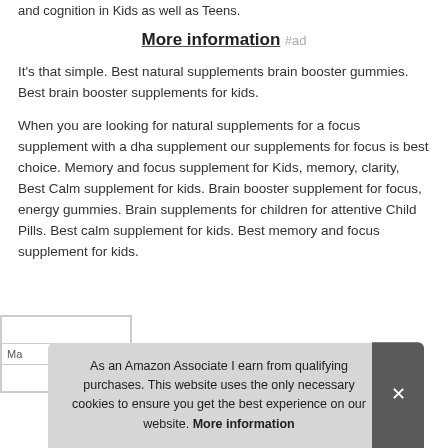and cognition in Kids as well as Teens.
More information #ad
It's that simple. Best natural supplements brain booster gummies. Best brain booster supplements for kids.
When you are looking for natural supplements for a focus supplement with a dha supplement our supplements for focus is best choice. Memory and focus supplement for Kids, memory, clarity, Best Calm supplement for kids. Brain booster supplement for focus, energy gummies. Brain supplements for children for attentive Child Pills. Best calm supplement for kids. Best memory and focus supplement for kids.
|  |
| Ma |
As an Amazon Associate I earn from qualifying purchases. This website uses the only necessary cookies to ensure you get the best experience on our website. More information